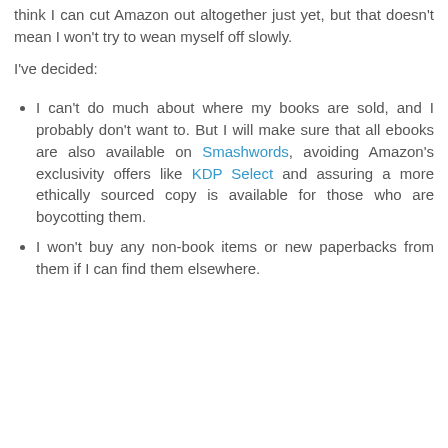think I can cut Amazon out altogether just yet, but that doesn't mean I won't try to wean myself off slowly.
I've decided:
I can't do much about where my books are sold, and I probably don't want to. But I will make sure that all ebooks are also available on Smashwords, avoiding Amazon's exclusivity offers like KDP Select and assuring a more ethically sourced copy is available for those who are boycotting them.
I won't buy any non-book items or new paperbacks from them if I can find them elsewhere.